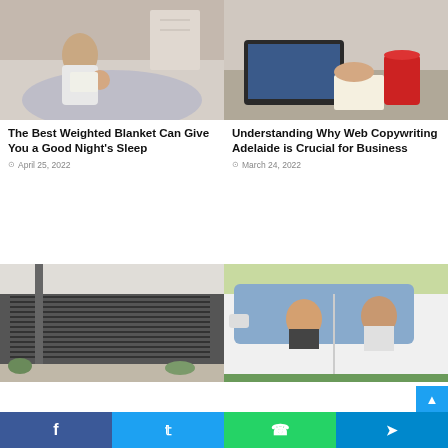[Figure (photo): Woman reading a book to a baby on a bed with a chunky knit blanket]
[Figure (photo): Person working at a desk with a laptop and red coffee cup]
The Best Weighted Blanket Can Give You a Good Night's Sleep
April 25, 2022
Understanding Why Web Copywriting Adelaide is Crucial for Business
March 24, 2022
[Figure (photo): Modern building exterior with horizontal blinds/shutters]
[Figure (photo): Young woman and older man smiling in a white car]